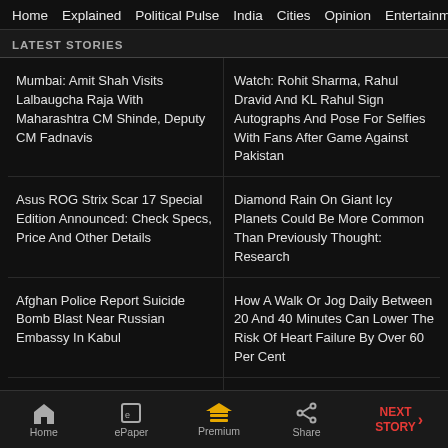Home  Explained  Political Pulse  India  Cities  Opinion  Entertainment
LATEST STORIES
Mumbai: Amit Shah Visits Lalbaugcha Raja With Maharashtra CM Shinde, Deputy CM Fadnavis
Watch: Rohit Sharma, Rahul Dravid And KL Rahul Sign Autographs And Pose For Selfies With Fans After Game Against Pakistan
Asus ROG Strix Scar 17 Special Edition Announced: Check Specs, Price And Other Details
Diamond Rain On Giant Icy Planets Could Be More Common Than Previously Thought: Research
Afghan Police Report Suicide Bomb Blast Near Russian Embassy In Kabul
How A Walk Or Jog Daily Between 20 And 40 Minutes Can Lower The Risk Of Heart Failure By Over 60 Per Cent
India Vs Pakistan, Asia Cup: 'We Were Expecting Short Balls', Says…
Seat Belt Mandatory In Rear Too But Enforcement Is Tough, Say…
Home  ePaper  Premium  Share  NEXT STORY →